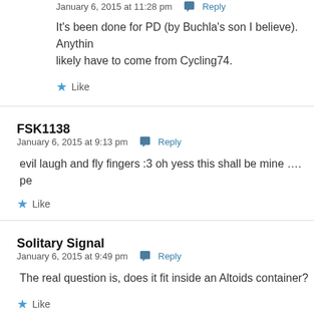January 6, 2015 at 11:28 pm  Reply
It's been done for PD (by Buchla's son I believe). Anything likely have to come from Cycling74.
Like
FSK1138
January 6, 2015 at 9:13 pm  Reply
evil laugh and fly fingers :3 oh yess this shall be mine .... pe
Like
Solitary Signal
January 6, 2015 at 9:49 pm  Reply
The real question is, does it fit inside an Altoids container?
Like